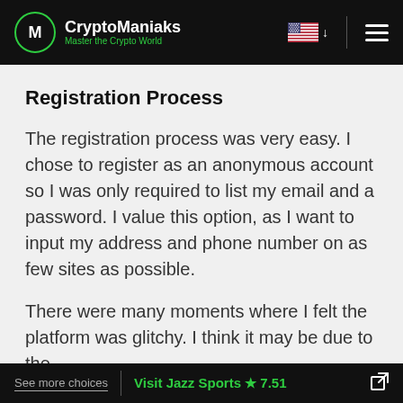CryptoManiaks – Master the Crypto World
Registration Process
The registration process was very easy. I chose to register as an anonymous account so I was only required to list my email and a password. I value this option, as I want to input my address and phone number on as few sites as possible.
There were many moments where I felt the platform was glitchy. I think it may be due to the
See more choices | Visit Jazz Sports ★ 7.51